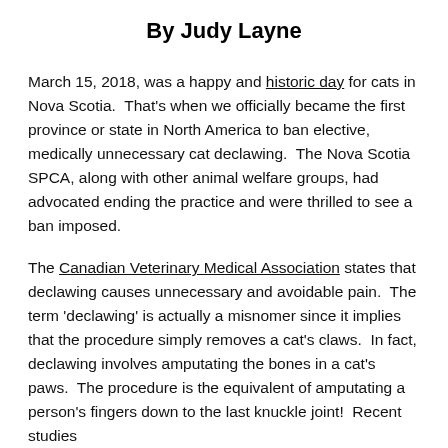By Judy Layne
March 15, 2018, was a happy and historic day for cats in Nova Scotia.  That's when we officially became the first province or state in North America to ban elective, medically unnecessary cat declawing.  The Nova Scotia SPCA, along with other animal welfare groups, had advocated ending the practice and were thrilled to see a ban imposed.
The Canadian Veterinary Medical Association states that declawing causes unnecessary and avoidable pain.  The term 'declawing' is actually a misnomer since it implies that the procedure simply removes a cat's claws.  In fact, declawing involves amputating the bones in a cat's paws.  The procedure is the equivalent of amputating a person's fingers down to the last knuckle joint!  Recent studies